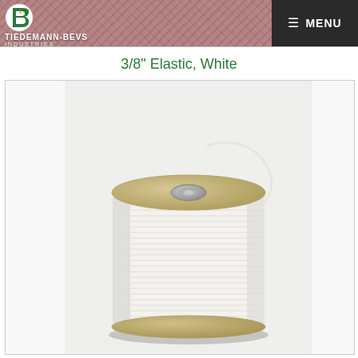TIEDEMANN-BEVS INDUSTRIES — MENU
3/8" Elastic, White
[Figure (photo): A large spool/roll of white 3/8 inch elastic ribbon wound tightly on a tan/beige cardboard cylindrical core with a silver center hub, photographed against a light gray background.]